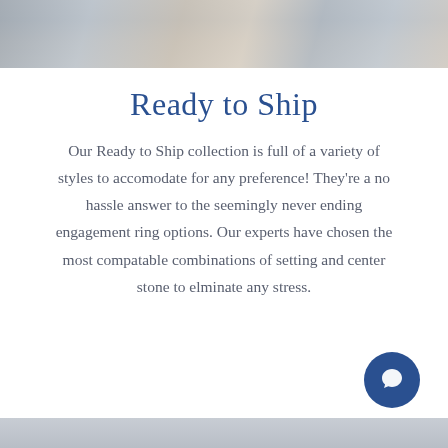[Figure (photo): Top banner photograph showing a jewelry store display case with rings and other jewelry items on shelves]
Ready to Ship
Our Ready to Ship collection is full of a variety of styles to accomodate for any preference! They're a no hassle answer to the seemingly never ending engagement ring options. Our experts have chosen the most compatable combinations of setting and center stone to elminate any stress.
[Figure (other): Blue circular chat/support button icon in the bottom right corner]